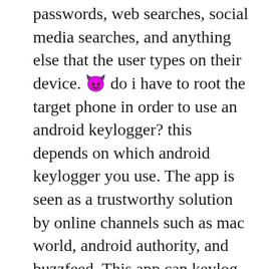passwords, web searches, social media searches, and anything else that the user types on their device. 😈 do i have to root the target phone in order to use an android keylogger? this depends on which android keylogger you use. The app is seen as a trustworthy solution by online channels such as mac world, android authority, and buzzfeed. This app can keylog all android phones and tablets running os 4. You install it with the help of your phone or pc and then you can keylog remotely from your web browser. After you install the app, you get an option to hide it. Wives or husbands may discretely access the data on their spouses' phones be it calls, text messages or social media texts via the use of keylogger technology. 5 best keylogger apps for your android spyic. Spyic is one of the top keylogger apps for android